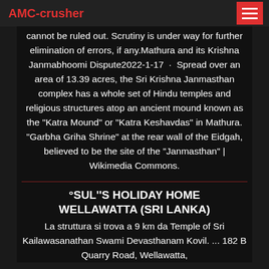AMC-crusher
cannot be ruled out. Scrutiny is under way for further elimination of errors, if any.Mathura and its Krishna Janmabhoomi Dispute2022-1-17 · Spread over an area of 13.39 acres, the Sri Krishna Janmasthan complex has a whole set of Hindu temples and religious structures atop an ancient mound known as the "Katra Mound" or "Katra Keshavdas" in Mathura. "Garbha Griha Shrine" at the rear wall of the Eidgah, believed to be the site of the "Janmasthan" | Wikimedia Commons.
°SUL''S HOLIDAY HOME WELLAWATTA (SRI LANKA)
La struttura si trova a 9 km da Temple of Sri Kailawasanathan Swami Devasthanam Kovil. ... 182 B Quarry Road, Wellawatta,